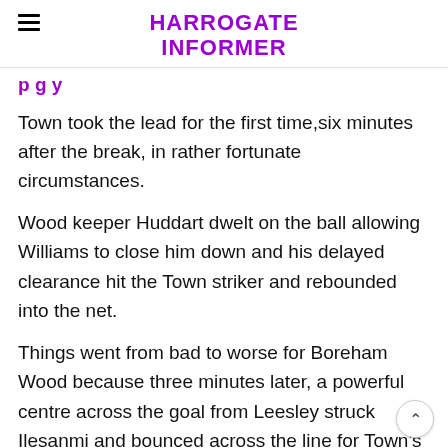HARROGATE INFORMER
p g y
Town took the lead for the first time,six minutes after the break, in rather fortunate circumstances.
Wood keeper Huddart dwelt on the ball allowing Williams to close him down and his delayed clearance hit the Town striker and rebounded into the net.
Things went from bad to worse for Boreham Wood because three minutes later, a powerful centre across the goal from Leesley struck Ilesanmi and bounced across the line for Town's third.